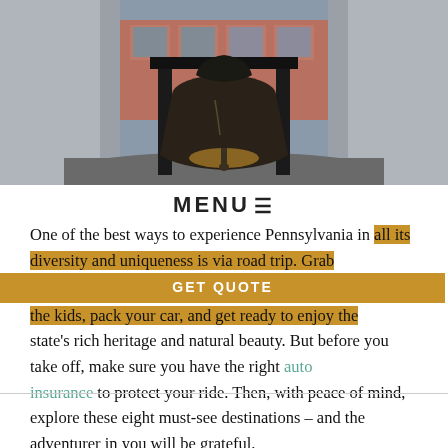[Figure (photo): Photo of the Liberty Bell displayed indoors with building visible through glass in background. Dark bell suspended on black stand, illuminated from below.]
MENU ☰
One of the best ways to experience Pennsylvania in all its diversity and uniqueness is via road trip. Grab the kids, pack your car, and get ready to enjoy the state's rich heritage and natural beauty. But before you take off, make sure you have the right auto insurance to protect your ride. Then, with peace of mind, explore these eight must-see destinations – and the adventurer in you will be grateful.